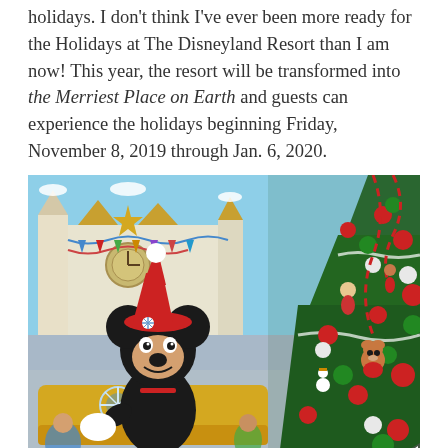holidays. I don't think I've ever been more ready for the Holidays at The Disneyland Resort than I am now! This year, the resort will be transformed into the Merriest Place on Earth and guests can experience the holidays beginning Friday, November 8, 2019 through Jan. 6, 2020.
[Figure (photo): Photo of Mickey Mouse in a Santa hat on a parade float at Disneyland, with a large decorated Christmas tree on the right and the It's a Small World attraction in the background decorated for the holidays.]